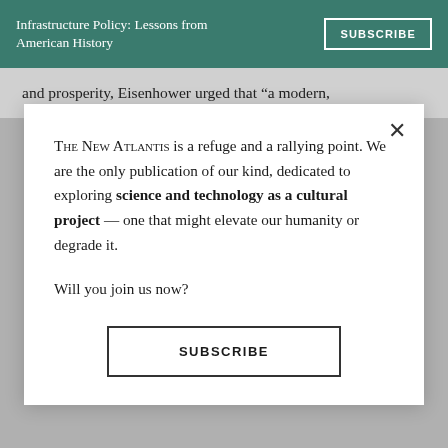Infrastructure Policy: Lessons from American History
and prosperity, Eisenhower urged that “a modern,
The New Atlantis is a refuge and a rallying point. We are the only publication of our kind, dedicated to exploring science and technology as a cultural project — one that might elevate our humanity or degrade it.

Will you join us now?
SUBSCRIBE